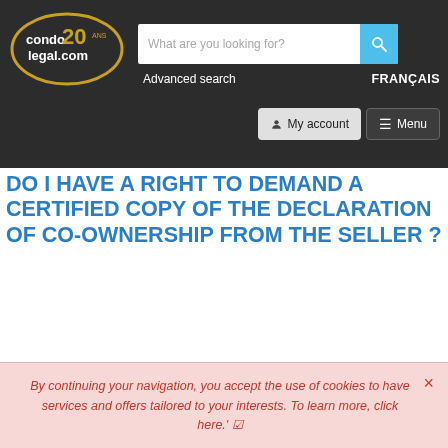[Figure (screenshot): condolegal.com website header with logo, search bar with 'What are you looking for?' placeholder, Advanced search link, FRANÇAIS link, My account button, and Menu button on dark background]
DO I HAVE A RIGHT TO DEMAND A CERTIFIED COPY OF THE DECLARATION OF CO-OWNERSHIP FROM THE SELLER ?
[Figure (illustration): Cartoon illustration of a person on yellow background reading a very long scrolling document]
Question:  At the time of the purchase of my condo, do I have a right to ask the seller for a certified true copy (authentic copy) of the Declaration of Co-Ownership?
By continuing your navigation, you accept the use of cookies to have services and offers tailored to your interests. To learn more, click here.'